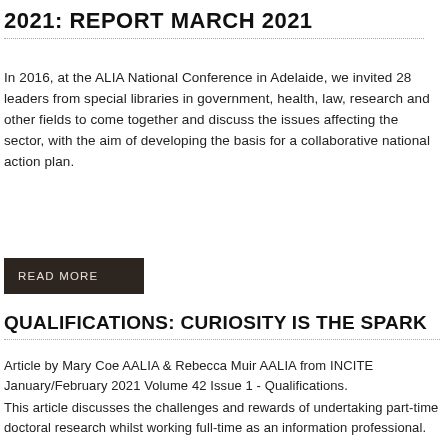2021: REPORT MARCH 2021
In 2016, at the ALIA National Conference in Adelaide, we invited 28 leaders from special libraries in government, health, law, research and other fields to come together and discuss the issues affecting the sector, with the aim of developing the basis for a collaborative national action plan.
READ MORE
QUALIFICATIONS: CURIOSITY IS THE SPARK
Article by Mary Coe AALIA & Rebecca Muir AALIA from INCITE January/February 2021 Volume 42 Issue 1 - Qualifications.
This article discusses the challenges and rewards of undertaking part-time doctoral research whilst working full-time as an information professional.